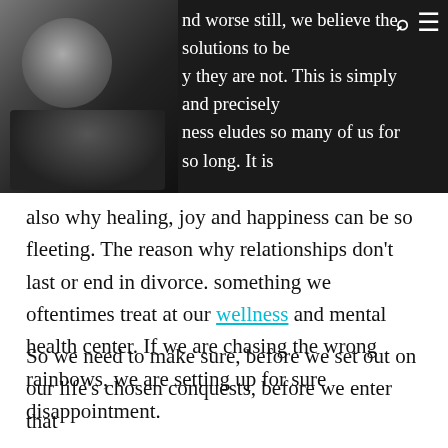nd worse still, we believe the solutions to be they are not. This is simply and precisely ness eludes so many of us for so long. It is
[Figure (photo): Black and white photo of a person in the top-left corner of the dark header bar]
also why healing, joy and happiness can be so fleeting. The reason why relationships don't last or end in divorce. something we oftentimes treat at our wellness and mental health center. If we are chasing the wrong rainbows, we are setting up for sure disappointment.
So we need to make sure, before we set out on our life's chosen conquests, before we enter that relationship and before we invest our time or money in this or that, asking these five questions can change things drastically with little cost and investment to you. Get a pen and paper and see how you go with